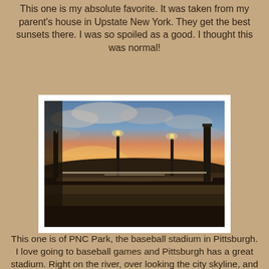This one is my absolute favorite. It was taken from my parent's house in Upstate New York. They get the best sunsets there. I was so spoiled as a good. I thought this was normal!
[Figure (photo): A photo of PNC Park baseball stadium in Pittsburgh at sunset. View from inside the stadium showing the field, stadium lights, seating areas, and a dramatic sunset sky with clouds lit in orange, pink, and blue tones.]
This one is of PNC Park, the baseball stadium in Pittsburgh. I love going to baseball games and Pittsburgh has a great stadium. Right on the river, over looking the city skyline, and that sunset's not half bad either.